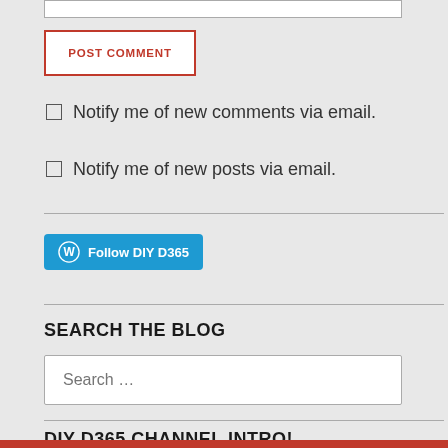POST COMMENT
Notify me of new comments via email.
Notify me of new posts via email.
[Figure (other): WordPress Follow button: Follow DIY D365]
SEARCH THE BLOG
Search ...
DIY D365 CHANNEL INTRO!